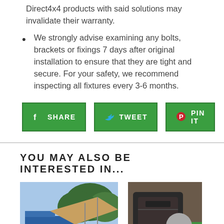Direct4x4 products with said solutions may invalidate their warranty.
We strongly advise examining any bolts, brackets or fixings 7 days after original installation to ensure that they are tight and secure. For your safety, we recommend inspecting all fixtures every 3-6 months.
[Figure (screenshot): Share buttons: SHARE (Facebook), TWEET (Twitter), PIN IT (Pinterest) — green bordered buttons with social media icons]
YOU MAY ALSO BE INTERESTED IN...
[Figure (photo): Photo of a vehicle awning/canopy extended from a van, outdoors with trees in background]
[Figure (photo): Photo of a dark-colored outdoor/camping product, partially visible]